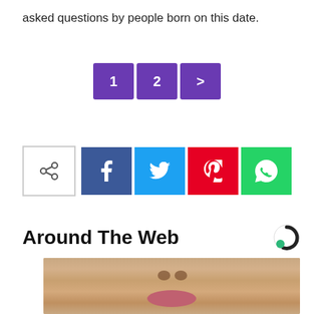asked questions by people born on this date.
[Figure (other): Pagination buttons: 1, 2, > in purple]
[Figure (other): Social share bar with share toggle button, Facebook (f), Twitter (bird), Pinterest (p), WhatsApp icons]
Around The Web
[Figure (photo): Close-up photo of a person's face covered in salt/sugar crystals, showing nose and lips]